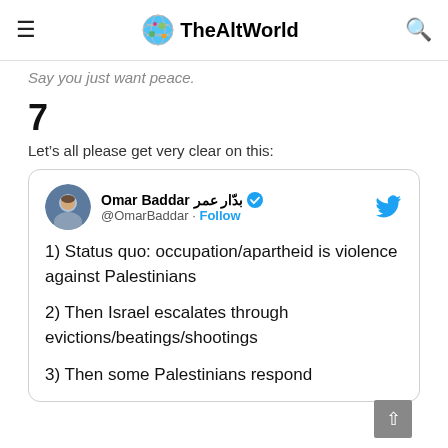TheAltWorld
Say you just want peace.
7
Let’s all please get very clear on this:
[Figure (screenshot): Tweet by Omar Baddar (@OmarBaddar) with verified badge and Follow button. Tweet text: 1) Status quo: occupation/apartheid is violence against Palestinians
2) Then Israel escalates through evictions/beatings/shootings
3) Then some Palestinians respond]